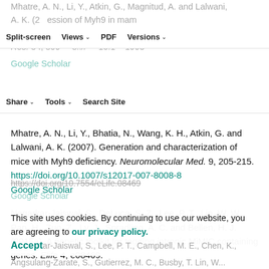Mhatre, A. N., Li, Y., Atkin, G., Magn..., A. and Lalwani, A. K. (2... expression of Myh9 in mam... cochlea: localization within the stereocilia. J. Neurosci. Res. 84, 809–... https://... 10.1... 1993 Google Scholar
Split-screen | Views | PDF | Versions | Share | Tools | Search Site
Mhatre, A. N., Li, Y., Bhatia, N., Wang, K. H., Atkin, G. and Lalwani, A. K. (2007). Generation and characterization of mice with Myh9 deficiency. Neuromolecular Med. 9, 205-215. https://doi.org/10.1007/s12017-007-8008-8 Google Scholar
Nagarkar-Jaiswal, S., DeLuca, S. Z., Lee, P. T., Lin, W. W., Pan, H., Zuo, Z., Lv, J., Spradling, A. C. and Bellen, H. J. (2015a). A genetic toolkit for tagging intronic MiMIC containing genes. Elife 4, e08469.
This site uses cookies. By continuing to use our website, you are agreeing to our privacy policy. Accept
Nagarkar-Jaiswal, S., Lee, P. T., Campbell, M. E., Chen, K., Angsulang-Zarate, S., Gutierrez, M. C., Busby, T. Lin, W....